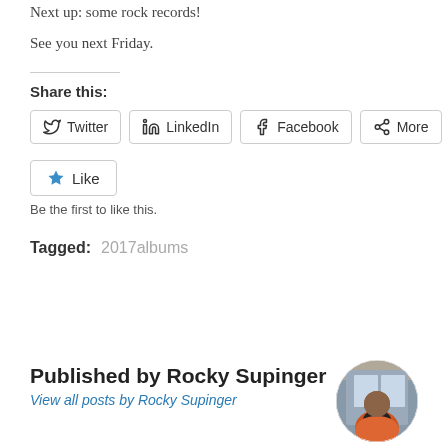Next up: some rock records!
See you next Friday.
Share this:
Twitter  LinkedIn  Facebook  More
Like
Be the first to like this.
Tagged:   2017albums
Published by Rocky Supinger
View all posts by Rocky Supinger
[Figure (photo): Circular avatar photo of Rocky Supinger, a person wearing an orange jacket, seated indoors]